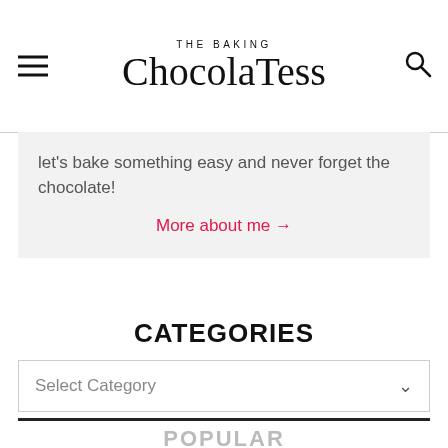THE BAKING ChocolaTess
let's bake something easy and never forget the chocolate!
More about me →
CATEGORIES
Select Category
POPULAR